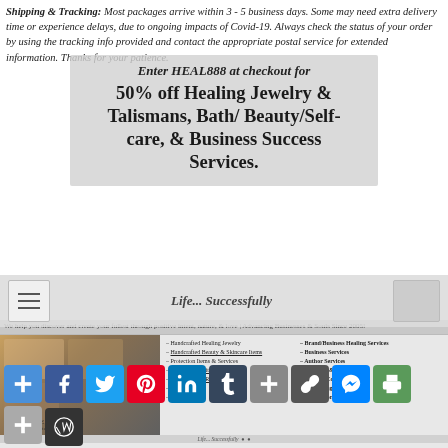Shipping & Tracking: Most packages arrive within 3 - 5 business days. Some may need extra delivery time or experience delays, due to ongoing impacts of Covid-19. Always check the status of your order by using the tracking info provided and contact the appropriate postal service for extended information. Thanks for your patience.
Enter HEAL888 at checkout for 50% off Healing Jewelry & Talismans, Bath/ Beauty/Self-care, & Business Success Services.
[Figure (screenshot): Website screenshot showing Intent-Sive Nature store navigation and product categories including Handcrafted Healing Jewelry, Beauty & Skincare Items, Protection Items & Services, Ritual Oils, Manifestation Ritual Kits, Books, Home Goods, Brand/Business Healing Services, Business Services, Author Services, Publicity & Marketing, Writing/Content/SEO, Consulting, Much More!]
[Figure (other): Social sharing buttons row including Add, Facebook, Twitter, Pinterest, LinkedIn, Tumblr, Google+, Link, Messenger, Print, More, and WordPress icons]